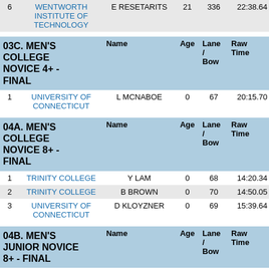| Place | Team | Name | Age | Lane/Bow | Raw Time | Penalty |
| --- | --- | --- | --- | --- | --- | --- |
| 6 | WENTWORTH INSTITUTE OF TECHNOLOGY | E RESETARITS | 21 | 336 | 22:38.64 | 00:00.0 |
| 03C. MEN'S COLLEGE NOVICE 4+ - FINAL |  | Name | Age | Lane / Bow | Raw Time | Penalty |
| 1 | UNIVERSITY OF CONNECTICUT | L MCNABOE | 0 | 67 | 20:15.70 | 00:00.0 |
| 04A. MEN'S COLLEGE NOVICE 8+ - FINAL |  | Name | Age | Lane / Bow | Raw Time | Penalty |
| 1 | TRINITY COLLEGE | Y LAM | 0 | 68 | 14:20.34 | 00:00.0 |
| 2 | TRINITY COLLEGE | B BROWN | 0 | 70 | 14:50.05 | 00:00.0 |
| 3 | UNIVERSITY OF CONNECTICUT | D KLOYZNER | 0 | 69 | 15:39.64 | 00:00.0 |
| 04B. MEN'S JUNIOR NOVICE 8+ - FINAL |  | Name | Age | Lane / Bow | Raw Time | Penalty |